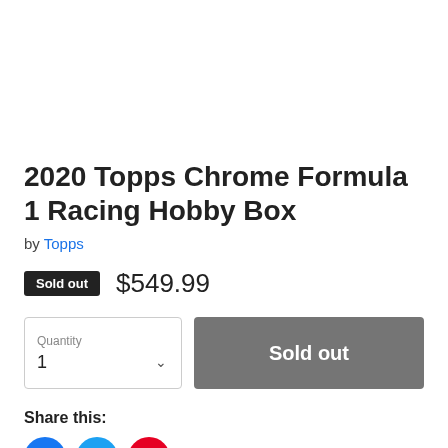2020 Topps Chrome Formula 1 Racing Hobby Box
by Topps
Sold out  $549.99
Quantity 1  Sold out
Share this: